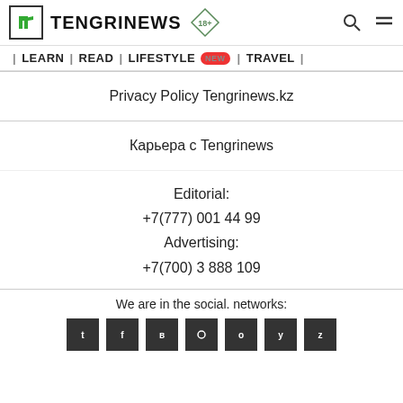TENGRINEWS 18+
| LEARN | READ | LIFESTYLE NEW | TRAVEL |
Privacy Policy Tengrinews.kz
Карьера с Tengrinews
Editorial:
+7(777) 001 44 99
Advertising:
+7(700) 3 888 109
We are in the social. networks: